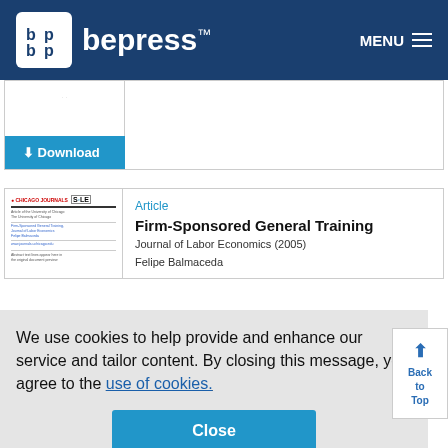bepress™  MENU
[Figure (screenshot): Document thumbnail preview]
Download
[Figure (screenshot): Chicago Journals and SOLE logos with article thumbnail]
Article
Firm-Sponsored General Training
Journal of Labor Economics (2005)
Felipe Balmaceda
We use cookies to help provide and enhance our service and tailor content. By closing this message, you agree to the use of cookies.
Close
Back to Top
Other